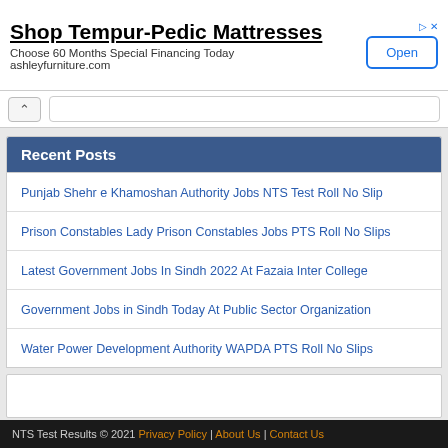[Figure (screenshot): Advertisement banner for Shop Tempur-Pedic Mattresses with Open button]
Shop Tempur-Pedic Mattresses
Choose 60 Months Special Financing Today
ashleyfurniture.com
Recent Posts
Punjab Shehr e Khamoshan Authority Jobs NTS Test Roll No Slip
Prison Constables Lady Prison Constables Jobs PTS Roll No Slips
Latest Government Jobs In Sindh 2022 At Fazaia Inter College
Government Jobs in Sindh Today At Public Sector Organization
Water Power Development Authority WAPDA PTS Roll No Slips
NTS Test Results © 2021 Privacy Policy | About Us | Contact Us